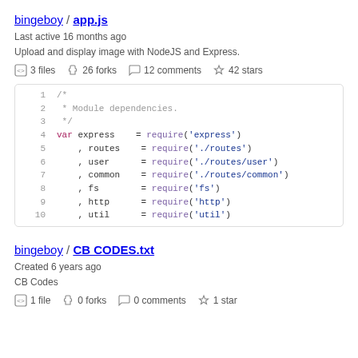bingeboy / app.js
Last active 16 months ago
Upload and display image with NodeJS and Express.
3 files  26 forks  12 comments  42 stars
[Figure (screenshot): Code block showing lines 1-10 of app.js with syntax highlighting. Lines 1-3 are a block comment. Lines 4-10 declare var express, routes, user, common, fs, http, util using require().]
bingeboy / CB CODES.txt
Created 6 years ago
CB Codes
1 file  0 forks  0 comments  1 star